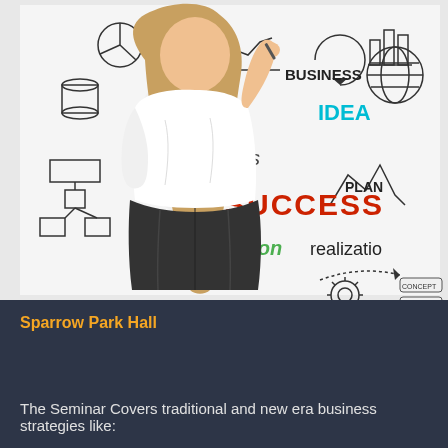[Figure (photo): Woman seen from behind in white blouse and black skirt writing on a whiteboard covered with business strategy words and doodles including BUSINESS, IDEA (in cyan), process, SUCCESS (in red), inspiration (in green), realization, PLAN, charts, arrows, gears, globe, flowcharts.]
Sparrow Park Hall
The Seminar Covers traditional and new era business strategies like: